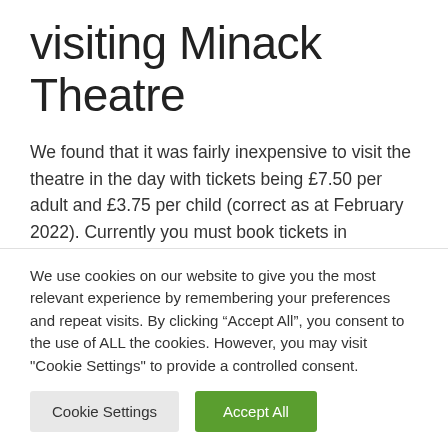visiting Minack Theatre
We found that it was fairly inexpensive to visit the theatre in the day with tickets being £7.50 per adult and £3.75 per child (correct as at February 2022). Currently you must book tickets in advance.
We use cookies on our website to give you the most relevant experience by remembering your preferences and repeat visits. By clicking “Accept All”, you consent to the use of ALL the cookies. However, you may visit "Cookie Settings" to provide a controlled consent.